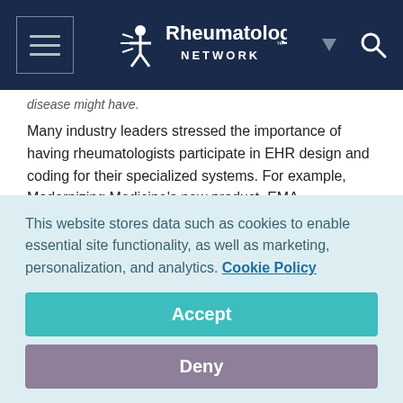Rheumatology Network
disease might have.
Many industry leaders stressed the importance of having rheumatologists participate in EHR design and coding for their specialized systems. For example, Modernizing Medicine's new product, EMA-Rheumatology, asks condition-specific questions based on content written by a panel of rheumatologists.
What Rheumatology EHRs Still Need
This website stores data such as cookies to enable essential site functionality, as well as marketing, personalization, and analytics. Cookie Policy
Accept
Deny